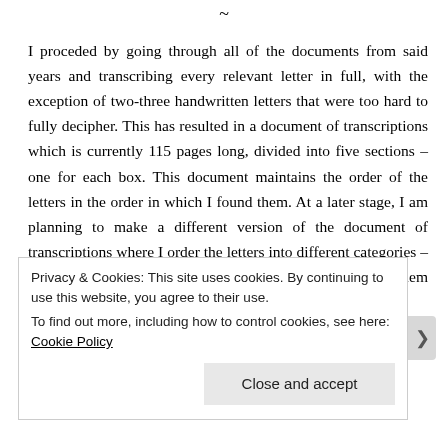~
I proceded by going through all of the documents from said years and transcribing every relevant letter in full, with the exception of two-three handwritten letters that were too hard to fully decipher. This has resulted in a document of transcriptions which is currently 115 pages long, divided into five sections – one for each box. This document maintains the order of the letters in the order in which I found them. At a later stage, I am planning to make a different version of the document of transcriptions where I order the letters into different categories – in particular acquisition and distribution – and arrange them chronologically.
Privacy & Cookies: This site uses cookies. By continuing to use this website, you agree to their use.
To find out more, including how to control cookies, see here: Cookie Policy
Close and accept